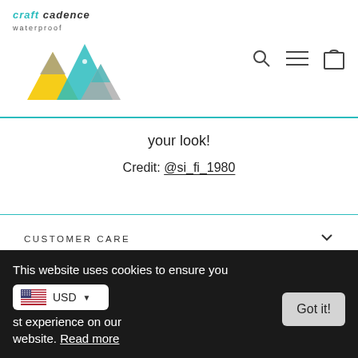[Figure (logo): Craft Cadence waterproof logo with mountain illustration in teal, yellow, and grey]
your look!
Credit: @si_fi_1980
CUSTOMER CARE
OUR POLICIES
SIGN UP AND SAVE
This website uses cookies to ensure you get the best experience on our website. Read more
USD
Got it!